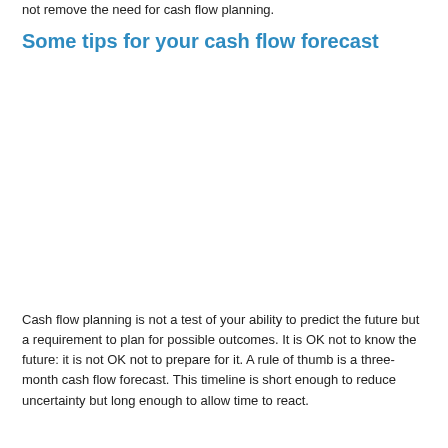not remove the need for cash flow planning.
Some tips for your cash flow forecast
Cash flow planning is not a test of your ability to predict the future but a requirement to plan for possible outcomes. It is OK not to know the future: it is not OK not to prepare for it. A rule of thumb is a three-month cash flow forecast. This timeline is short enough to reduce uncertainty but long enough to allow time to react.